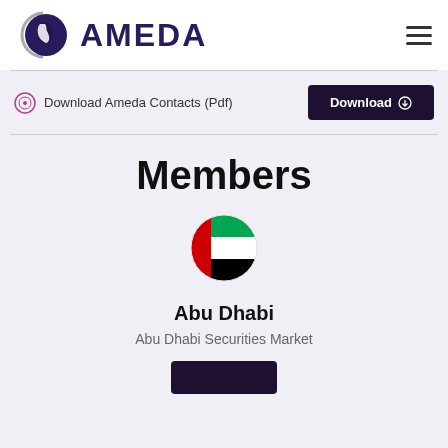[Figure (logo): AMEDA logo with Africa globe icon and text AMEDA]
Download Ameda Contacts (Pdf)
Download
Members
[Figure (illustration): UAE flag emoji circle icon]
Abu Dhabi
Abu Dhabi Securities Market